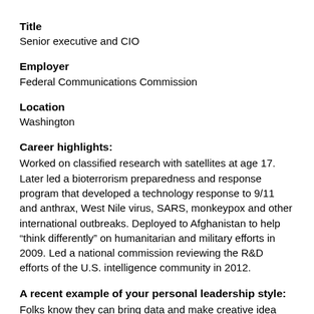Title
Senior executive and CIO
Employer
Federal Communications Commission
Location
Washington
Career highlights:
Worked on classified research with satellites at age 17. Later led a bioterrorism preparedness and response program that developed a technology response to 9/11 and anthrax, West Nile virus, SARS, monkeypox and other international outbreaks. Deployed to Afghanistan to help “think differently” on humanitarian and military efforts in 2009. Led a national commission reviewing the R&D efforts of the U.S. intelligence community in 2012.
A recent example of your personal leadership style:
Folks know they can bring data and make creative idea